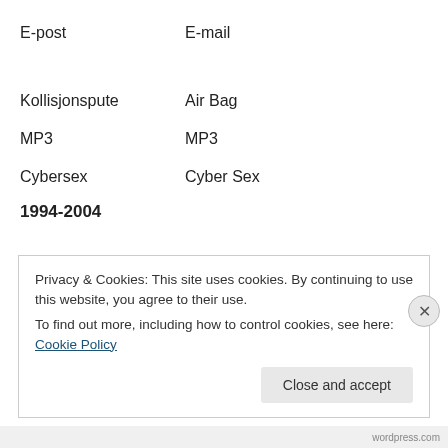| E-post | E-mail |
| Kollisjonspute | Air Bag |
| MP3 | MP3 |
| Cybersex | Cyber Sex |
1994-2004
Privacy & Cookies: This site uses cookies. By continuing to use this website, you agree to their use.
To find out more, including how to control cookies, see here: Cookie Policy